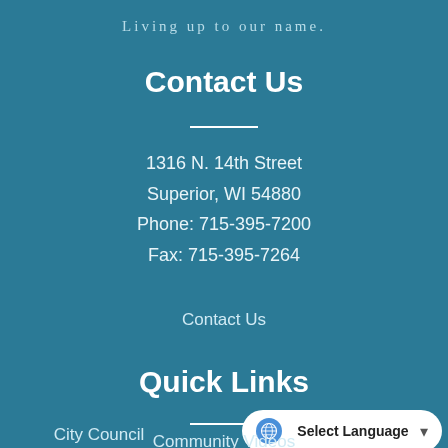Living up to our name.
Contact Us
1316 N. 14th Street
Superior, WI 54880
Phone: 715-395-7200
Fax: 715-395-7264
Contact Us
Quick Links
City Council
Community Videos